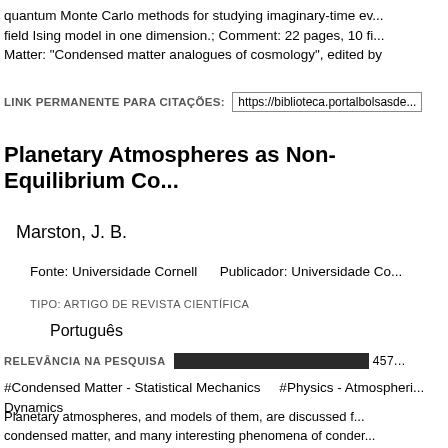quantum Monte Carlo methods for studying imaginary-time evolution of the transverse field Ising model in one dimension.; Comment: 22 pages, 10 figures; Contributed to New Journal of Condensed Matter: "Condensed matter analogues of cosmology", edited by
LINK PERMANENTE PARA CITAÇÕES: https://biblioteca.portalbolsasde...
Planetary Atmospheres as Non-Equilibrium Co...
Marston, J. B.
Fonte: Universidade Cornell    Publicador: Universidade Co...
TIPO: ARTIGO DE REVISTA CIENTÍFICA
Português
RELEVÂNCIA NA PESQUISA  457...
#Condensed Matter - Statistical Mechanics    #Physics - Atmospheric Dynamics
Planetary atmospheres, and models of them, are discussed from the perspective of condensed matter, and many interesting phenomena of condensed matter physics. The circulation is illustrated with idealized 2-layer and 1-layer models. Statistical methods are used to directly ascertain the statistics of these models.; Comm... Physics (2012); Rhinos scale (Eq. 25) corrected, one reference...